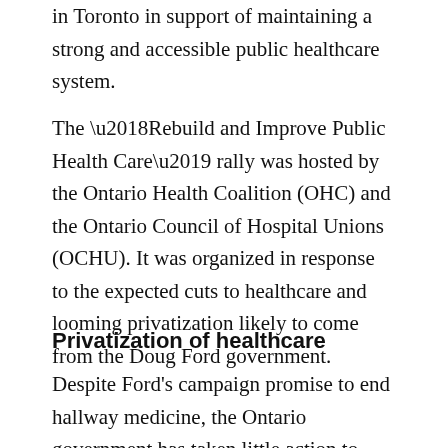in Toronto in support of maintaining a strong and accessible public healthcare system.
The ‘Rebuild and Improve Public Health Care’ rally was hosted by the Ontario Health Coalition (OHC) and the Ontario Council of Hospital Unions (OCHU). It was organized in response to the expected cuts to healthcare and looming privatization likely to come from the Doug Ford government.
Privatization of healthcare
Despite Ford’s campaign promise to end hallway medicine, the Ontario government has taken little action to solve the crisis of overcrowding, gaps in care, and long wait times in hospitals and